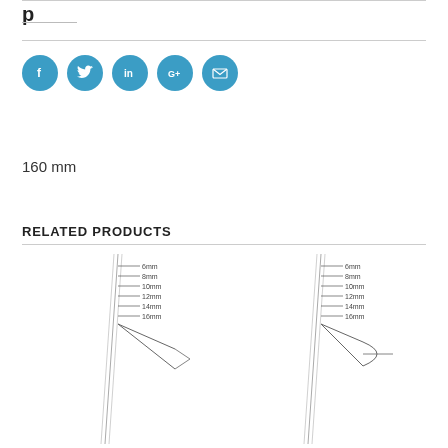p
[Figure (infographic): Social media share icons: Facebook, Twitter, LinkedIn, Google+, Email — blue circles with white icons]
160 mm
RELATED PRODUCTS
[Figure (illustration): Medical/surgical forceps or tweezers instrument with measurement scale labels: 6mm, 8mm, 10mm, 12mm, 14mm, 16mm — open tip (spread) style]
[Figure (illustration): Medical/surgical forceps or tweezers instrument with measurement scale labels: 6mm, 8mm, 10mm, 12mm, 14mm, 16mm — closed/curved tip style]